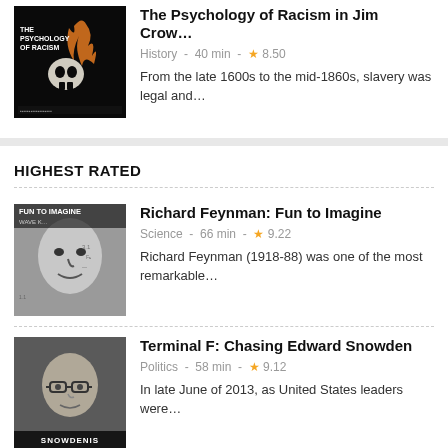[Figure (photo): Thumbnail image for 'The Psychology of Racism in Jim Crow' - dark background with skull and text]
The Psychology of Racism in Jim Crow…
History - 40 min - ★ 8.50
From the late 1600s to the mid-1860s, slavery was legal and…
HIGHEST RATED
[Figure (photo): Black and white thumbnail of Richard Feynman with text 'FUN TO IMAGINE' overlay]
Richard Feynman: Fun to Imagine
Science - 66 min - ★ 9.22
Richard Feynman (1918-88) was one of the most remarkable…
[Figure (photo): Photo thumbnail of Edward Snowden with 'SNOWDENIS' text at bottom]
Terminal F: Chasing Edward Snowden
Politics - 58 min - ★ 9.12
In late June of 2013, as United States leaders were…